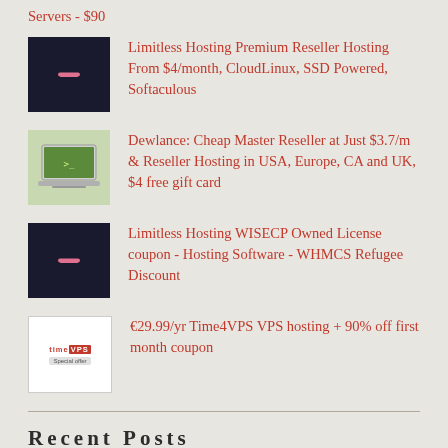Servers - $90
[Figure (photo): Dark thumbnail with pink/red icon for Limitless Hosting]
Limitless Hosting Premium Reseller Hosting From $4/month, CloudLinux, SSD Powered, Softaculous
[Figure (photo): Laptop thumbnail with green background for Dewlance]
Dewlance: Cheap Master Reseller at Just $3.7/m & Reseller Hosting in USA, Europe, CA and UK, $4 free gift card
[Figure (photo): Dark thumbnail with pink/red icon for Limitless Hosting WISECP]
Limitless Hosting WISECP Owned License coupon - Hosting Software - WHMCS Refugee Discount
[Figure (photo): White promotional thumbnail for Time4VPS with Special offer text]
€29.99/yr Time4VPS VPS hosting + 90% off first month coupon
Recent Posts
BackNord KVM VPS 1-2 GB RAM $14.98/Year, and more!